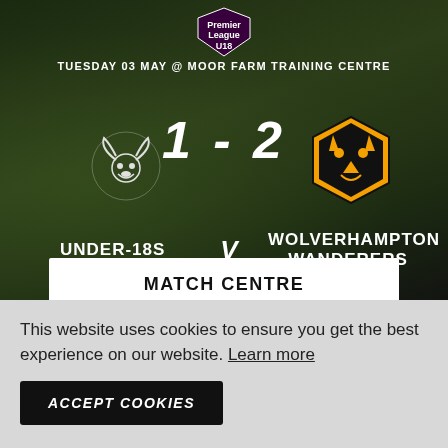[Figure (infographic): Premier League U18 match result graphic on dark grass background. Derby County U18s 1 - 2 Wolverhampton Wanderers. Tuesday 03 May @ Moor Farm Training Centre. Includes Premier League U18 logo, Derby County ram logo, Wolverhampton Wanderers wolf badge.]
TUESDAY 03 MAY @ MOOR FARM TRAINING CENTRE
1 - 2
UNDER-18S v WOLVERHAMPTON WANDERERS
MATCH CENTRE
This website uses cookies to ensure you get the best experience on our website. Learn more
ACCEPT COOKIES